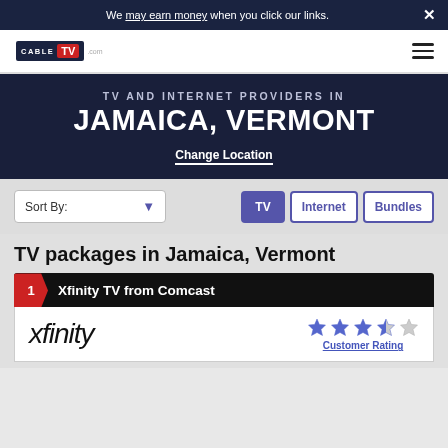We may earn money when you click our links.
[Figure (logo): CableTV.com logo with navigation hamburger menu]
TV AND INTERNET PROVIDERS IN JAMAICA, VERMONT
Change Location
Sort By: TV Internet Bundles
TV packages in Jamaica, Vermont
1 Xfinity TV from Comcast
[Figure (logo): Xfinity logo with 3.5 star customer rating]